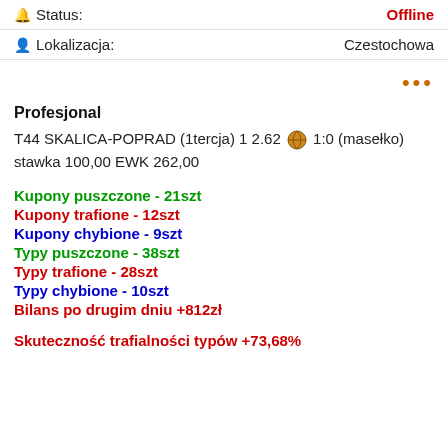Status: Offline
Lokalizacja: Czestochowa
...
Profesjonal
T44 SKALICA-POPRAD (1tercja) 1 2.62 🏀 1:0 (masełko) stawka 100,00 EWK 262,00
Kupony puszczone - 21szt
Kupony trafione - 12szt
Kupony chybione - 9szt
Typy puszczone - 38szt
Typy trafione - 28szt
Typy chybione - 10szt
Bilans po drugim dniu +812zł
Skuteczność trafialności typów +73,68%